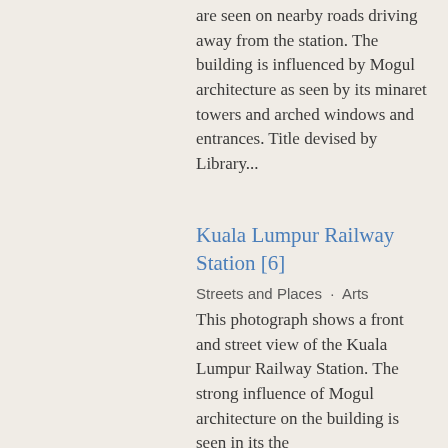are seen on nearby roads driving away from the station. The building is influenced by Mogul architecture as seen by its minaret towers and arched windows and entrances. Title devised by Library...
Kuala Lumpur Railway Station [6]
Streets and Places · Arts
This photograph shows a front and street view of the Kuala Lumpur Railway Station. The strong influence of Mogul architecture on the building is seen in its the